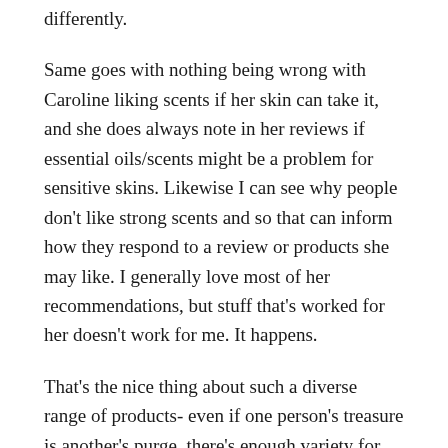differently.
Same goes with nothing being wrong with Caroline liking scents if her skin can take it, and she does always note in her reviews if essential oils/scents might be a problem for sensitive skins. Likewise I can see why people don't like strong scents and so that can inform how they respond to a review or products she may like. I generally love most of her recommendations, but stuff that's worked for her doesn't work for me. It happens.
That's the nice thing about such a diverse range of products- even if one person's treasure is another's purge, there's enough variety for you to explore and find what works for you.
Karima, you might like Boots No 7 Beautiful Skin